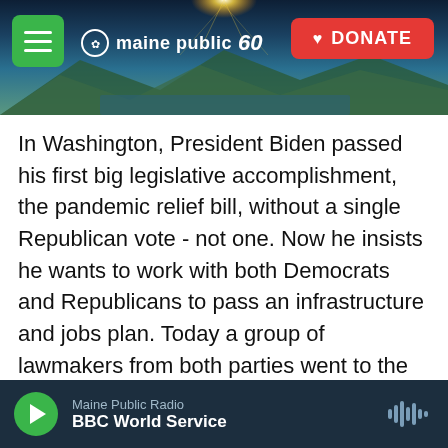[Figure (screenshot): Maine Public 60th anniversary website header banner with landscape photo showing sunrise over mountains/lake, hamburger menu button (green), Maine Public 60 logo, and red DONATE button]
In Washington, President Biden passed his first big legislative accomplishment, the pandemic relief bill, without a single Republican vote - not one. Now he insists he wants to work with both Democrats and Republicans to pass an infrastructure and jobs plan. Today a group of lawmakers from both parties went to the Oval Office to see if they could find some agreement. NPR national political correspondent Mara Liasson has been monitoring this.
Hey there, Mara.
Maine Public Radio  BBC World Service